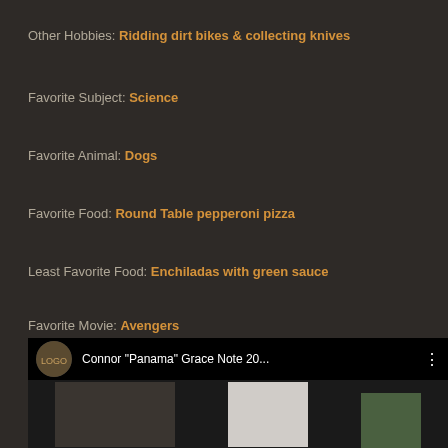Other Hobbies: Ridding dirt bikes & collecting knives
Favorite Subject: Science
Favorite Animal: Dogs
Favorite Food: Round Table pepperoni pizza
Least Favorite Food: Enchiladas with green sauce
Favorite Movie: Avengers
Favorite TV Show: Sponge Bob
Favorite Color: Red
[Figure (screenshot): Video thumbnail showing Connor "Panama" Grace Note 20... with a circular logo icon on left and three-dot menu on right, scene shows people in a room with plants]